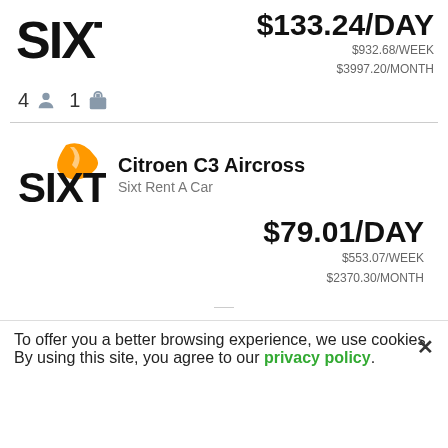[Figure (logo): Sixt logo (black text, partial top crop)]
$133.24/DAY
$932.68/WEEK
$3997.20/MONTH
4 [person icon] 1 [bag icon]
[Figure (logo): Sixt Rent A Car logo with orange swoosh]
Citroen C3 Aircross
Sixt Rent A Car
$79.01/DAY
$553.07/WEEK
$2370.30/MONTH
To offer you a better browsing experience, we use cookies. By using this site, you agree to our privacy policy.